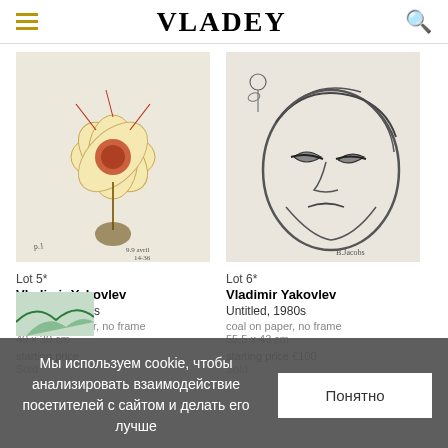VLADEY
[Figure (illustration): Sketch of a flower with colorful marker strokes on paper, with handwritten notes]
Lot 5*
Vladimir Yakovlev
Untitled, 1980-s
marker on paper, no frame
40 x 30 cm
starting price
Sold
[Figure (illustration): Charcoal sketch of a sad face with a flower, detailed pencil/coal strokes on paper]
Lot 6*
Vladimir Yakovlev
Untitled, 1980s
coal on paper, no frame
55,5 x 43 cm
starting price €100
Sold
Мы используем cookie, чтобы анализировать взаимодействие посетителей с сайтом и делать его лучше
Понятно